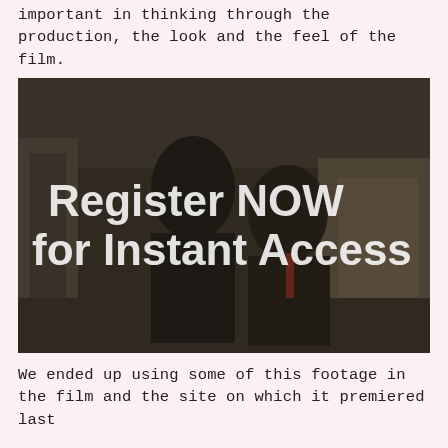important in thinking through the production, the look and the feel of the film.
[Figure (photo): Two men in dark overcoats standing together outdoors in front of a building, with a watermark overlay reading 'Register NOW for Instant Access']
We ended up using some of this footage in the film and the site on which it premiered last